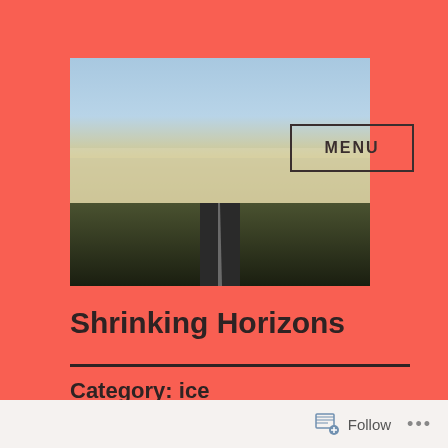[Figure (photo): A road stretching to the horizon through flat fields with hazy sky and mist, viewed from a low angle. Dark asphalt with road markings visible.]
MENU
Shrinking Horizons
Category: ice
Winter 2020
Follow ...